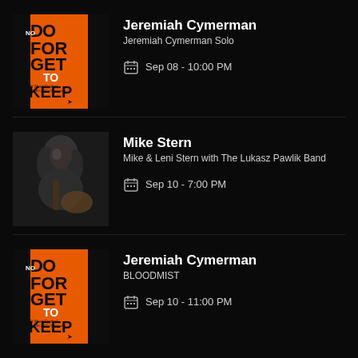[Figure (illustration): Music festival poster with orange and black design reading DO NOT FORGET TO KEEP, festival info]
Jeremiah Cymerman
Jeremiah Cymerman Solo
Sep 08 - 10:00 PM
[Figure (photo): Black and white photo of Mike Stern playing guitar, long hair, leaning forward]
Mike Stern
Mike & Leni Stern with The Lukasz Pawlik Band
Sep 10 - 7:00 PM
[Figure (illustration): Music festival poster with orange and black design reading DO NOT FORGET TO KEEP, festival info]
Jeremiah Cymerman
BLOODMIST
Sep 10 - 11:00 PM